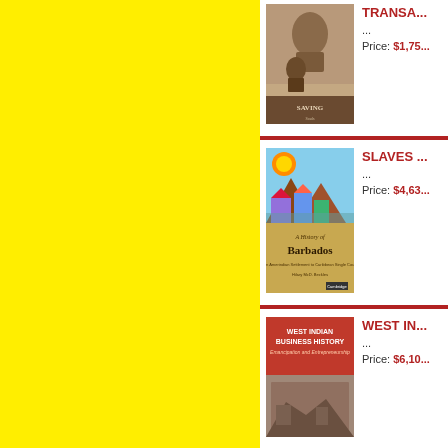[Figure (illustration): Yellow background on left half of page]
[Figure (photo): Book cover: Saving Souls - sepia toned image with figures]
TRANSA...
...
Price: $1,75...
[Figure (photo): Book cover top: colorful folk art village scene. Bottom: A History of Barbados]
SLAVES ...
...
Price: $4,63...
[Figure (photo): Book cover: West Indian Business History - Emancipation and Entrepreneurship]
WEST IN...
...
Price: $6,10...